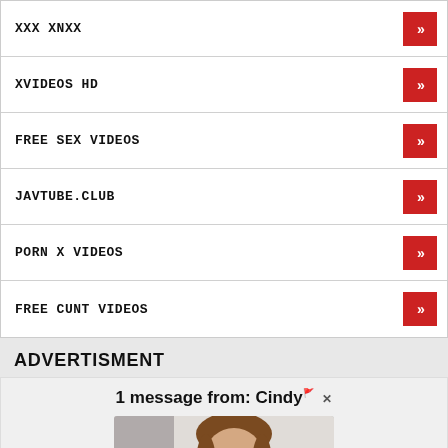XXX XNXX
XVIDEOS HD
FREE SEX VIDEOS
JAVTUBE.CLUB
PORN X VIDEOS
FREE CUNT VIDEOS
ADVERTISMENT
1 message from: Cindy
[Figure (photo): Photo of a woman with long brown hair, partial view, indoor background]